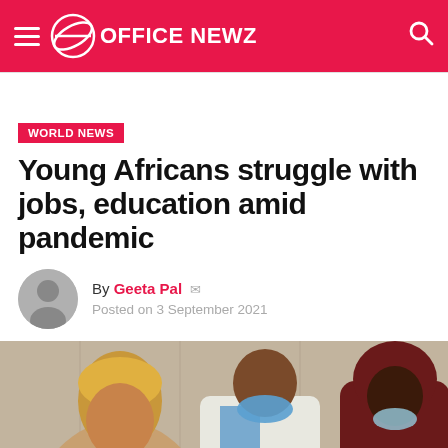OFFICE NEWZ
WORLD NEWS
Young Africans struggle with jobs, education amid pandemic
By Geeta Pal  Posted on 3 September 2021
[Figure (photo): Two young African men wearing face masks, one in a white shirt with a blue surgical mask and one in a dark maroon hoodie with a light blue mask, standing outdoors]